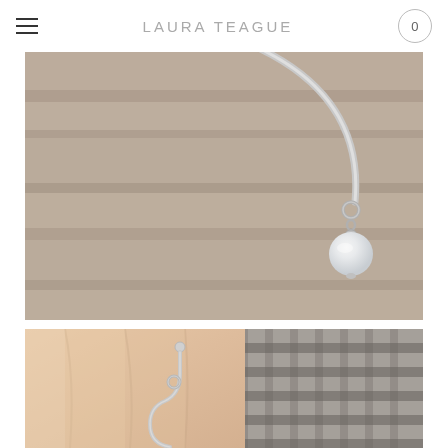LAURA TEAGUE
[Figure (photo): Close-up photo of a silver hoop earring with a small freshwater pearl pendant hanging from a tiny loop at the bottom of the hoop. The background is a blurred wooden surface in warm beige-gray tones.]
[Figure (photo): Close-up photo of a hand holding a silver earring wire/hook with a small loop at the bottom, showing the earring finding before the pearl is attached. The background shows a woven wicker or rattan texture in gray tones.]